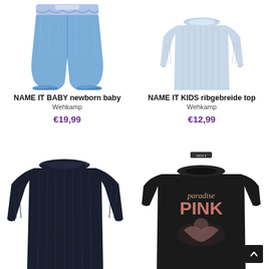[Figure (photo): Baby jeans with ruffled elastic waistband, light blue denim wash, elasticated ankles]
NAME IT BABY newborn baby
Wehkamp
€19,99
[Figure (photo): Light blue ribbed long-sleeve top with frill collar and cuffs]
NAME IT KIDS ribgebreide top
Wehkamp
€12,99
[Figure (photo): Dark navy blue ribbed long-sleeve top with frill collar, partially visible]
[Figure (photo): Black t-shirt with 'paradise PINK' graphic print with flamingo design, partially visible]